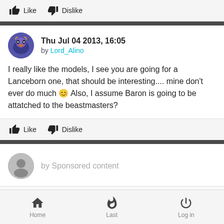Like   Dislike
Thu Jul 04 2013, 16:05 by Lord_Alino
I really like the models, I see you are going for a Lanceborn one, that should be interesting.... mine don't ever do much 😊 Also, I assume Baron is going to be attatched to the beastmasters?
Like   Dislike
by Sponsored content
Home   Last   Log in